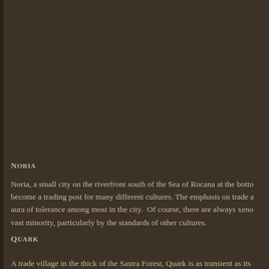Noria
Noria, a small city on the riverfront south of the Sea of Rocana at the botto become a trading post for many different cultures. The emphasis on trade a aura of tolerance among most in the city.  Of course, there are always xeno vast minority, particularly by the standards of other cultures.
Quark
A trade village in the thick of the Sastra Forest, Quark is as transient as its